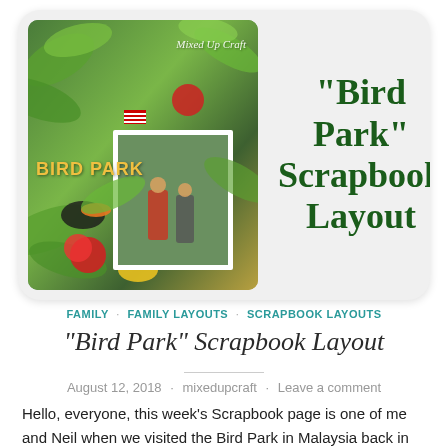[Figure (photo): Scrapbook layout card showing 'Bird Park' tropical jungle themed layout with tropical leaves, flowers, birds and a photo of two people at the Bird Park in Malaysia. Text overlay says 'Mixed Up Craft'. Right side shows bold green text: "Bird Park" Scrapbook Layout]
FAMILY · FAMILY LAYOUTS · SCRAPBOOK LAYOUTS
“Bird Park” Scrapbook Layout
August 12, 2018 · mixedupcraft · Leave a comment
Hello, everyone, this week’s Scrapbook page is one of me and Neil when we visited the Bird Park in Malaysia back in 2014. I used papers from the First Edition “Botanical”